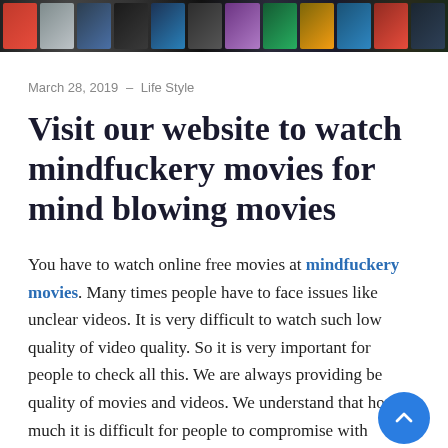[Figure (photo): A horizontal banner/strip showing a collage of movie thumbnails/screenshots in various colors and scenes, serving as a website header image.]
March 28, 2019 – Life Style
Visit our website to watch mindfuckery movies for mind blowing movies
You have to watch online free movies at mindfuckery movies. Many times people have to face issues like unclear videos. It is very difficult to watch such low quality of video quality. So it is very important for people to check all this. We are always providing be quality of movies and videos. We understand that how much it is difficult for people to compromise with quality. we solve this and provide top quality of